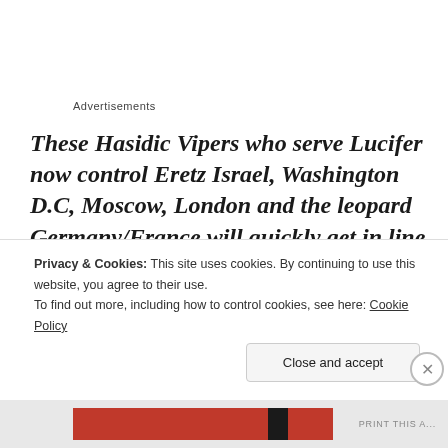Advertisements
These Hasidic Vipers who serve Lucifer now control Eretz Israel, Washington D.C, Moscow, London and the leopard Germany/France will quickly get in line to the Right Wing Conspiracy against all of mankind. All the Kings of the earth are in bed with the great whore.
Privacy & Cookies: This site uses cookies. By continuing to use this website, you agree to their use.
To find out more, including how to control cookies, see here: Cookie Policy
Close and accept